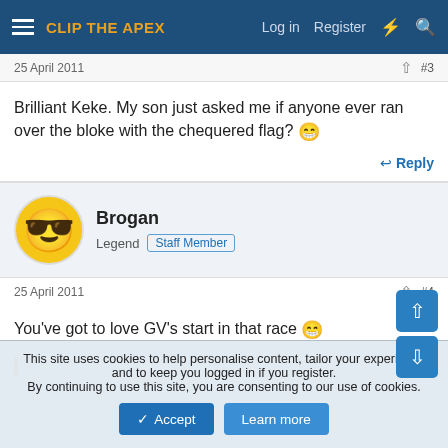CLIP THE APEX — Log in  Register
25 April 2011  #3
Brilliant Keke. My son just asked me if anyone ever ran over the bloke with the chequered flag? 😁
Reply
Brogan
Legend  Staff Member
25 April 2011  #4
You've got to love GV's start in that race 😁
This site uses cookies to help personalise content, tailor your experience and to keep you logged in if you register.
By continuing to use this site, you are consenting to our use of cookies.